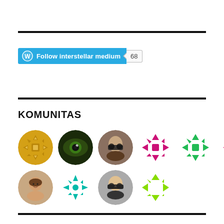[Figure (screenshot): WordPress Follow button for 'interstellar medium' blog with follower count of 68]
KOMUNITAS
[Figure (infographic): Grid of 10 circular avatar icons: row 1 has gold geometric pattern, green eye photo, woman with sunglasses photo, pink geometric pattern, green geometric pattern, magenta geometric pattern; row 2 has man's photo, teal geometric pattern, woman with sunglasses photo, lime green geometric pattern]